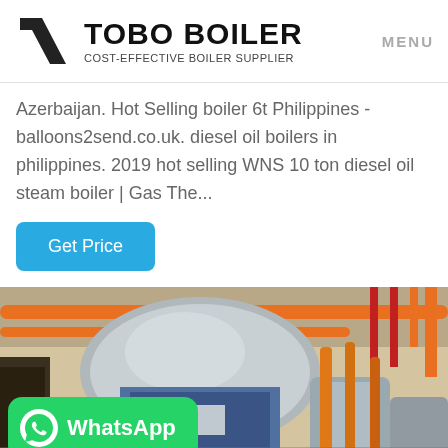TOBO BOILER COST-EFFECTIVE BOILER SUPPLIER | MENU
Azerbaijan. Hot Selling boiler 6t Philippines - balloons2send.co.uk. diesel oil boilers in philippines. 2019 hot selling WNS 10 ton diesel oil steam boiler | Gas The...
Get Price
[Figure (photo): Industrial boiler room showing large cylindrical steam boilers with orange and red pipes overhead, metallic insulated vessels, and industrial equipment.]
WhatsApp